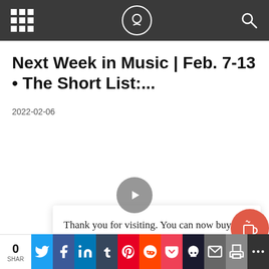Navigation header with grid menu, logo, and search icon
Next Week in Music | Feb. 7-13 • The Short List:...
2022-02-06
[Figure (other): Video play button overlay on blank content area]
Thank you for visiting. You can now buy me a coffee!
0 SHAR | Social share buttons: Twitter, Facebook, LinkedIn, Tumblr, Pinterest, Reddit, Pocket, Skull, Email, Print, More